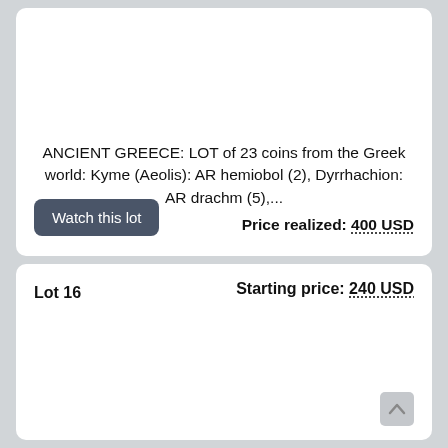ANCIENT GREECE: LOT of 23 coins from the Greek world: Kyme (Aeolis): AR hemiobol (2), Dyrrhachion: AR drachm (5),...
Watch this lot
Price realized: 400 USD
Lot 16
Starting price: 240 USD